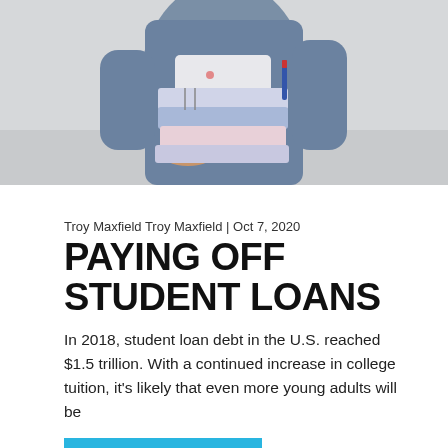[Figure (photo): Person in a denim jacket holding a stack of books/binders, cropped to show torso and hands, light background]
Troy Maxfield Troy Maxfield | Oct 7, 2020
PAYING OFF STUDENT LOANS
In 2018, student loan debt in the U.S. reached $1.5 trillion. With a continued increase in college tuition, it's likely that even more young adults will be
Read More